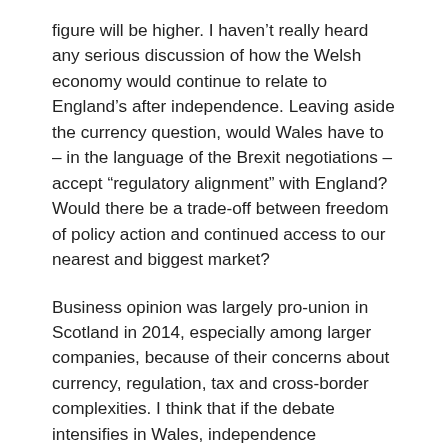figure will be higher. I haven’t really heard any serious discussion of how the Welsh economy would continue to relate to England’s after independence. Leaving aside the currency question, would Wales have to – in the language of the Brexit negotiations – accept “regulatory alignment” with England? Would there be a trade-off between freedom of policy action and continued access to our nearest and biggest market?
Business opinion was largely pro-union in Scotland in 2014, especially among larger companies, because of their concerns about currency, regulation, tax and cross-border complexities. I think that if the debate intensifies in Wales, independence advocates will have an even harder time winning around the influential business lobby.